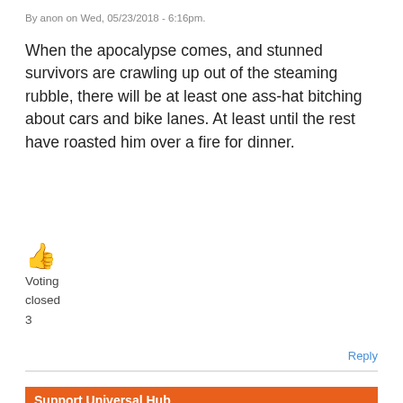By anon on Wed, 05/23/2018 - 6:16pm.
When the apocalypse comes, and stunned survivors are crawling up out of the steaming rubble, there will be at least one ass-hat bitching about cars and bike lanes. At least until the rest have roasted him over a fire for dinner.
👍
Voting
closed
3
Reply
Support Universal Hub
Help keep Universal Hub going. If you like what we're up to and want to help out, please consider a (completely non-deductible) contribution.